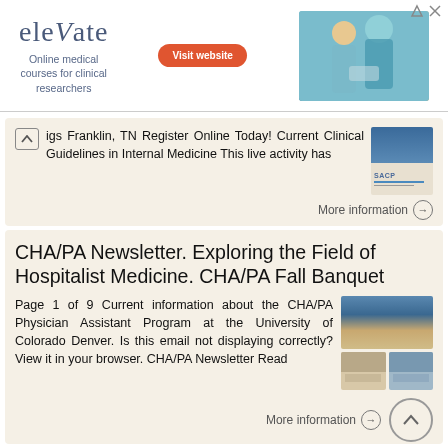[Figure (other): Advertisement banner for 'elevate' online medical courses for clinical researchers with a Visit website button and photo of medical professionals]
igs Franklin, TN Register Online Today! Current Clinical Guidelines in Internal Medicine This live activity has
More information →
CHA/PA Newsletter. Exploring the Field of Hospitalist Medicine. CHA/PA Fall Banquet
Page 1 of 9 Current information about the CHA/PA Physician Assistant Program at the University of Colorado Denver. Is this email not displaying correctly? View it in your browser. CHA/PA Newsletter Read
More information →